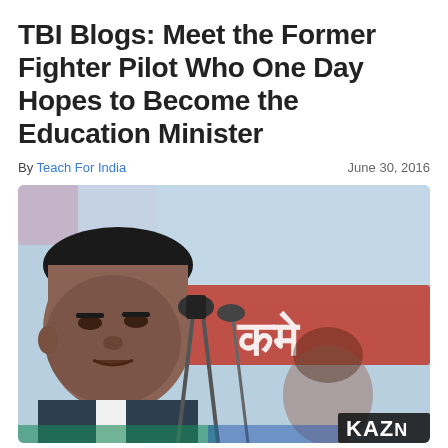TBI Blogs: Meet the Former Fighter Pilot Who One Day Hopes to Become the Education Minister
By Teach For India   June 30, 2016
[Figure (photo): A man speaking into a microphone at a public event, with Hindi text on a red banner visible in the background. A watermark 'KAZN' appears at the bottom right.]